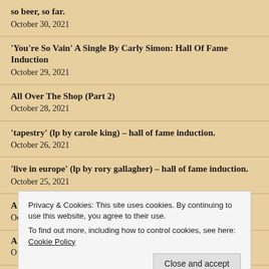so beer, so far.
October 30, 2021
'You're So Vain' A Single By Carly Simon: Hall Of Fame Induction
October 29, 2021
All Over The Shop (Part 2)
October 28, 2021
'tapestry' (lp by carole king) – hall of fame induction.
October 26, 2021
'live in europe' (lp by rory gallagher) – hall of fame induction.
October 25, 2021
A Jags To Riches Story
October 23, 2021
Privacy & Cookies: This site uses cookies. By continuing to use this website, you agree to their use.
To find out more, including how to control cookies, see here: Cookie Policy
Close and accept
Love and Marriage (A Tale of Two Cities)